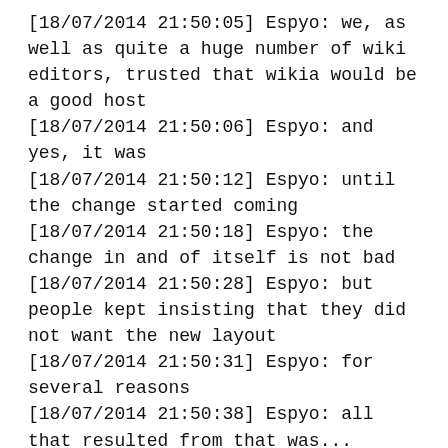[18/07/2014 21:50:05] Espyo: we, as well as quite a huge number of wiki editors, trusted that wikia would be a good host
[18/07/2014 21:50:06] Espyo: and yes, it was
[18/07/2014 21:50:12] Espyo: until the change started coming
[18/07/2014 21:50:18] Espyo: the change in and of itself is not bad
[18/07/2014 21:50:28] Espyo: but people kept insisting that they did not want the new layout
[18/07/2014 21:50:31] Espyo: for several reasons
[18/07/2014 21:50:38] Espyo: all that resulted from that was...
[18/07/2014 21:50:40] Espyo: a blind eye
[18/07/2014 21:50:42] jpmrocks: there is